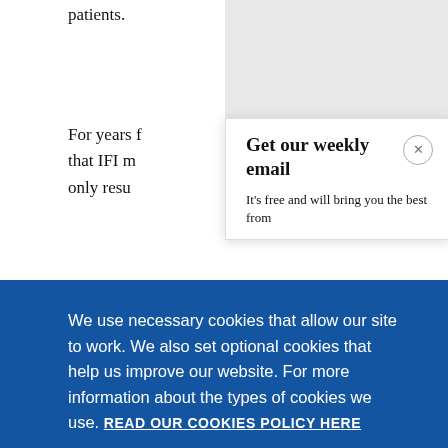patients.
For years f... that IFI m... only resu...
Get our weekly email
It's free and will bring you the best from
We use necessary cookies that allow our site to work. We also set optional cookies that help us improve our website. For more information about the types of cookies we use. READ OUR COOKIES POLICY HERE
COOKIE SETTINGS
ALLOW ALL COOKIES
data.
priority.